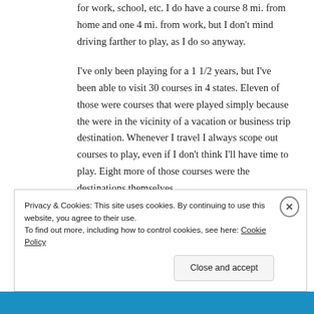for work, school, etc. I do have a course 8 mi. from home and one 4 mi. from work, but I don't mind driving farther to play, as I do so anyway.
I've only been playing for a 1 1/2 years, but I've been able to visit 30 courses in 4 states. Eleven of those were courses that were played simply because the were in the vicinity of a vacation or business trip destination. Whenever I travel I always scope out courses to play, even if I don't think I'll have time to play. Eight more of those courses were the destinations themselves
Privacy & Cookies: This site uses cookies. By continuing to use this website, you agree to their use.
To find out more, including how to control cookies, see here: Cookie Policy